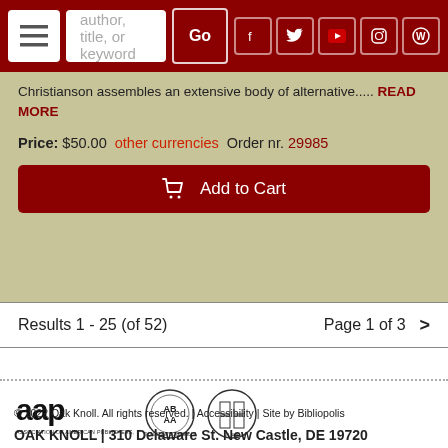author, title, or keyword — Go
Christianson assembles an extensive body of alternative..... READ MORE
Price: $50.00  other currencies  Order nr. 29985
Add to Cart
Results 1 - 25 (of 52)
Page 1 of 3  >
[Figure (logo): AAP - Association of American Publishers, Inc. logo; ABAA antiquarian booksellers logo; ILAB logo]
© 2022 Oak Knoll. All rights reserved. | Accessibility | Site by Bibliopolis
OAK KNOLL | 310 Delaware St. New Castle, DE 19720
P: 302.328.7232 | E: orders@oakknoll.com